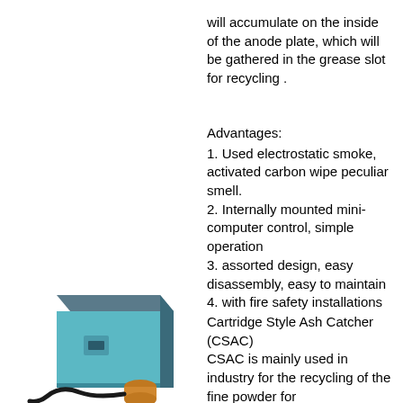will accumulate on the inside of the anode plate, which will be gathered in the grease slot for recycling .
Advantages:
1. Used electrostatic smoke, activated carbon wipe peculiar smell.
2. Internally mounted mini-computer control, simple operation
3. assorted design, easy disassembly, easy to maintain
4. with fire safety installations
[Figure (illustration): Illustration of a Cartridge Style Ash Catcher (CSAC) device — a boxy teal/grey unit with a cylindrical attachment at its base]
Cartridge Style Ash Catcher (CSAC)
CSAC is mainly used in industry for the recycling of the fine powder for